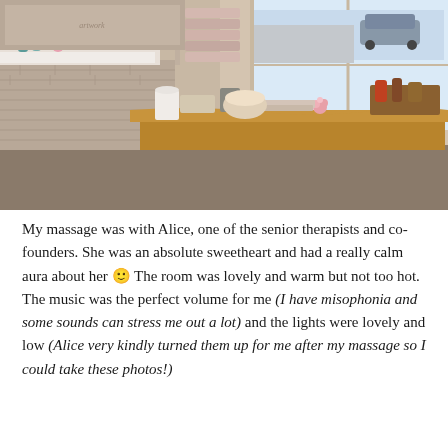[Figure (photo): Interior of a spa or beauty salon reception/treatment room. Features a rustic wooden reception desk with a wavy edge, stacked pink/beige towels on shelving, beauty products (teal bottles, pink roses), a white brick-style wall, and a bright window showing a street outside with a parked car. Warm, cozy ambiance.]
My massage was with Alice, one of the senior therapists and co-founders. She was an absolute sweetheart and had a really calm aura about her 🙂 The room was lovely and warm but not too hot. The music was the perfect volume for me (I have misophonia and some sounds can stress me out a lot) and the lights were lovely and low (Alice very kindly turned them up for me after my massage so I could take these photos!)